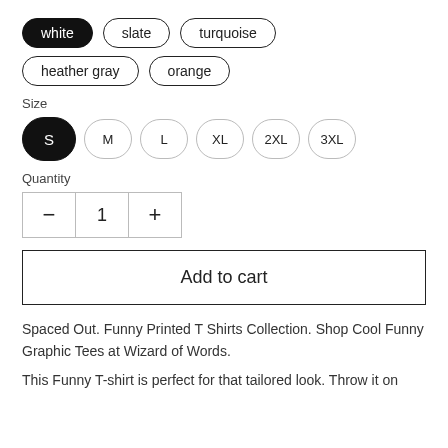white, slate, turquoise, heather gray, orange (color options)
Size
S (selected), M, L, XL, 2XL, 3XL (size options)
Quantity
- 1 +
Add to cart
Spaced Out. Funny Printed T Shirts Collection. Shop Cool Funny Graphic Tees at Wizard of Words.
This Funny T-shirt is perfect for that tailored look. Throw it on